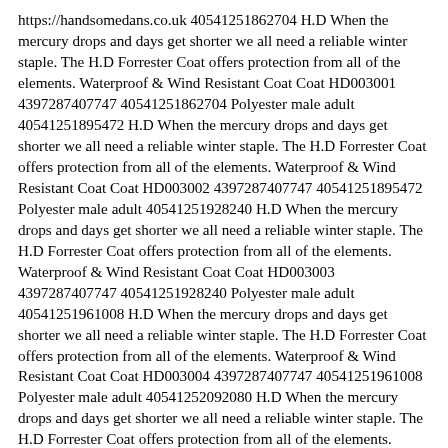https://handsomedans.co.uk 40541251862704 H.D When the mercury drops and days get shorter we all need a reliable winter staple. The H.D Forrester Coat offers protection from all of the elements. Waterproof & Wind Resistant Coat Coat HD003001 4397287407747 40541251862704 Polyester male adult 40541251895472 H.D When the mercury drops and days get shorter we all need a reliable winter staple. The H.D Forrester Coat offers protection from all of the elements. Waterproof & Wind Resistant Coat Coat HD003002 4397287407747 40541251895472 Polyester male adult 40541251928240 H.D When the mercury drops and days get shorter we all need a reliable winter staple. The H.D Forrester Coat offers protection from all of the elements. Waterproof & Wind Resistant Coat Coat HD003003 4397287407747 40541251928240 Polyester male adult 40541251961008 H.D When the mercury drops and days get shorter we all need a reliable winter staple. The H.D Forrester Coat offers protection from all of the elements. Waterproof & Wind Resistant Coat Coat HD003004 4397287407747 40541251961008 Polyester male adult 40541252092080 H.D When the mercury drops and days get shorter we all need a reliable winter staple. The H.D Forrester Coat offers protection from all of the elements. Waterproof & Wind Resistant Coat Coat DQ860001 4397287407747 40541252092080 Polyester male adult 40541252124848 H.D When the mercury drops and days get shorter we all need a reliable winter staple. The H.D Forrester Coat